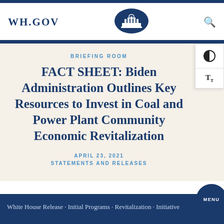WH.GOV
[Figure (logo): White House seal in dark blue oval]
BRIEFING ROOM
FACT SHEET: Biden Administration Outlines Key Resources to Invest in Coal and Power Plant Community Economic Revitalization
APRIL 23, 2021
STATEMENTS AND RELEASES